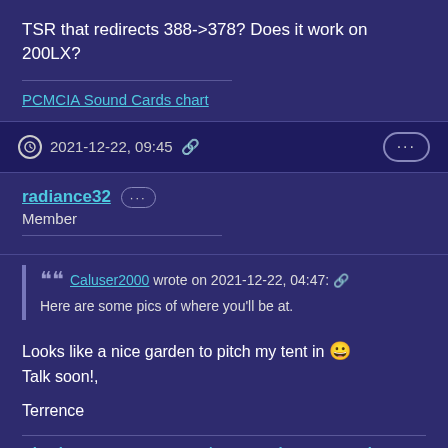TSR that redirects 388->378? Does it work on 200LX?
PCMCIA Sound Cards chart
2021-12-22, 09:45
radiance32 • Member
Caluser2000 wrote on 2021-12-22, 04:47: Here are some pics of where you'll be at.
Looks like a nice garden to pitch my tent in 😀 Talk soon!,
Terrence
Check out my new HP 100/200LX Palmtop YouTube Channel!